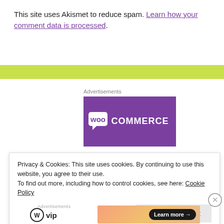This site uses Akismet to reduce spam. Learn how your comment data is processed.
[Figure (other): Yellow/lime green horizontal bar divider]
Advertisements
[Figure (logo): WooCommerce logo on purple background]
Privacy & Cookies: This site uses cookies. By continuing to use this website, you agree to their use.
To find out more, including how to control cookies, see here: Cookie Policy
Close and accept
Advertisements
[Figure (logo): WordPress VIP logo and Learn more button with gradient background advertisement]